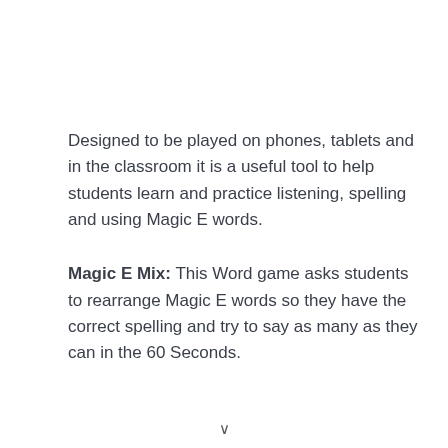Designed to be played on phones, tablets and in the classroom it is a useful tool to help students learn and practice listening, spelling and using Magic E words.
Magic E Mix: This Word game asks students to rearrange Magic E words so they have the correct spelling and try to say as many as they can in the 60 Seconds.